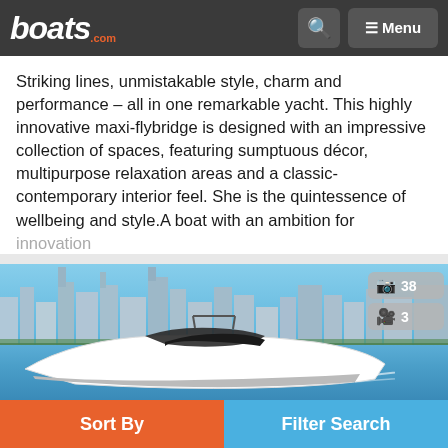boats.com — navigation header with search and menu
Striking lines, unmistakable style, charm and performance – all in one remarkable yacht. This highly innovative maxi-flybridge is designed with an impressive collection of spaces, featuring sumptuous décor, multipurpose relaxation areas and a classic-contemporary interior feel. She is the quintessence of wellbeing and style.A boat with an ambition for innovation
More…
[Figure (photo): Luxury white motor yacht cruising on blue water with city skyline in background. Photo counter shows 38 photos and 3 videos.]
Sort By | Filter Search